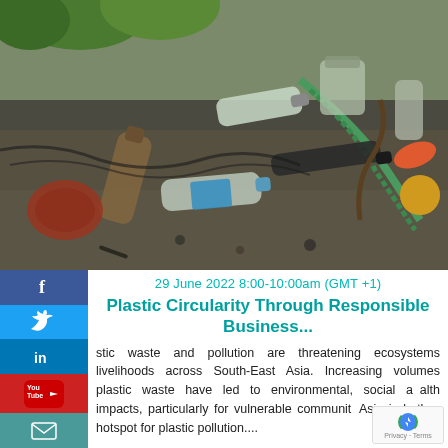[Figure (photo): Beach littered with plastic bottles, rope, netting, and other plastic waste debris on dark sand, with green plants visible in the background]
29 June 2022 8:00-10:00am (GMT +1)
Plastic Circularity Through Responsible Business...
stic waste and pollution are threatening ecosystems livelihoods across South-East Asia. Increasing volumes plastic waste have led to environmental, social and health impacts, particularly for vulnerable communities. Asia is both a hotspot for plastic pollution....